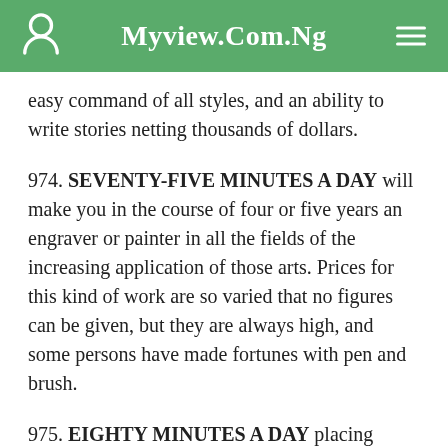Myview.Com.Ng
easy command of all styles, and an ability to write stories netting thousands of dollars.
974. SEVENTY-FIVE MINUTES A DAY will make you in the course of four or five years an engraver or painter in all the fields of the increasing application of those arts. Prices for this kind of work are so varied that no figures can be given, but they are always high, and some persons have made fortunes with pen and brush.
975. EIGHTY MINUTES A DAY placing letters in pigeon holes and in learning such other knowledge as any handler of the mails will willingly impart to you, will give you such deft fingers and such quick brains that it